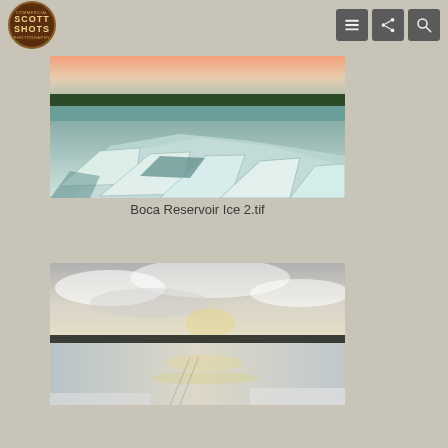Scott Shots Photography – navigation header
[Figure (photo): Aerial/ground view of fractured ice sheets on Boca Reservoir at dusk/dawn, with a pink-orange sky and pine trees silhouetted in the background]
Boca Reservoir Ice 2.tif
[Figure (photo): Wide panoramic view of a frozen lake under a dramatic cloudy sky in winter, with snow-covered ground and dark pine tree line on the horizon]